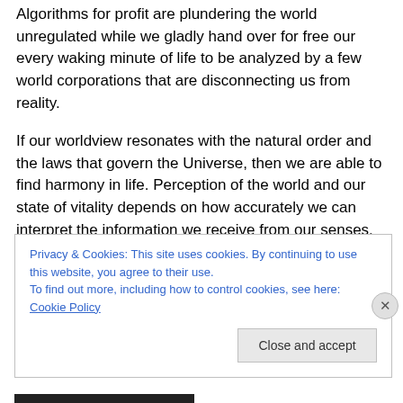Algorithms for profit are plundering the world unregulated while we gladly hand over for free our every waking minute of life to be analyzed by a few world corporations that are disconnecting us from reality.
If our worldview resonates with the natural order and the laws that govern the Universe, then we are able to find harmony in life. Perception of the world and our state of vitality depends on how accurately we can interpret the information we receive from our senses.
About saving the planet should do more than sitting back
Privacy & Cookies: This site uses cookies. By continuing to use this website, you agree to their use.
To find out more, including how to control cookies, see here: Cookie Policy